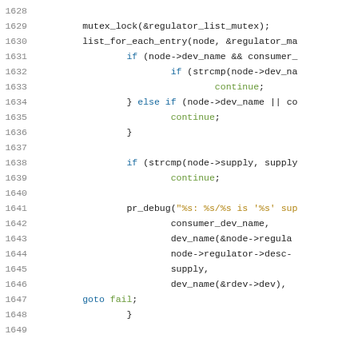[Figure (screenshot): Source code listing showing C code lines 1628-1649, with syntax highlighting. Line numbers in gray on the left, keywords in blue, strings in gold, and continuation/control keywords in green.]